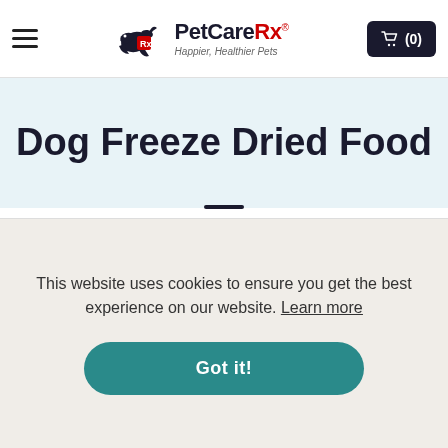PetCareRx - Happier, Healthier Pets | Cart (0)
Dog Freeze Dried Food
[Figure (screenshot): Dark navy square icon with three horizontal white lines (hamburger/menu icon)]
FILTERS   2 ITEMS
Sort Best Selling
[Figure (photo): Partial product thumbnails at bottom of page, showing dog food packaging with red labels reading BIGGER PATTIES]
This website uses cookies to ensure you get the best experience on our website. Learn more
Got it!